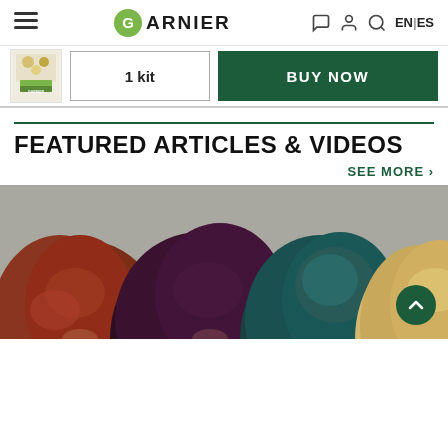GARNIER — navigation bar with hamburger menu, logo, chat icon, account icon, search icon, EN|ES language selector
[Figure (screenshot): Product thumbnail image showing a blonde hair color kit box]
1 kit
BUY NOW
FEATURED ARTICLES & VIDEOS
SEE MORE >
[Figure (photo): Back view of four women showing different hair colors: auburn/red, dark burgundy/violet, teal/blue-green, and blonde]